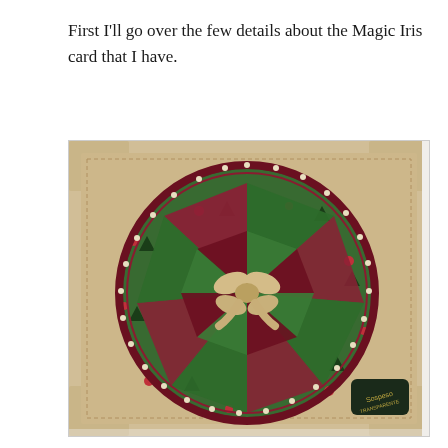First I'll go over the few details about the Magic Iris card that I have.
[Figure (photo): A Magic Iris card with Christmas theme. The card has a beige/tan background with reindeer and snowflake patterns. A large circular iris fold design is in the center, made of segments with Christmas-themed patterned papers in red plaid, green holly/Christmas tree patterns, and dark red/maroon. In the center of the iris fold is a decorative bow/poinsettia embellishment. A small dark label/sticker is visible in the lower right corner of the card.]